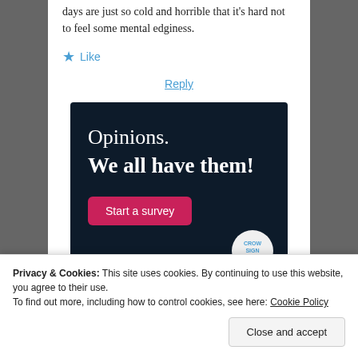days are just so cold and horrible that it's hard not to feel some mental edginess.
★ Like
Reply
[Figure (infographic): Advertisement banner with dark navy background. Text reads 'Opinions. We all have them!' with a pink/magenta 'Start a survey' button and a round CrowdSignal logo in the bottom right.]
Privacy & Cookies: This site uses cookies. By continuing to use this website, you agree to their use.
To find out more, including how to control cookies, see here: Cookie Policy
Close and accept